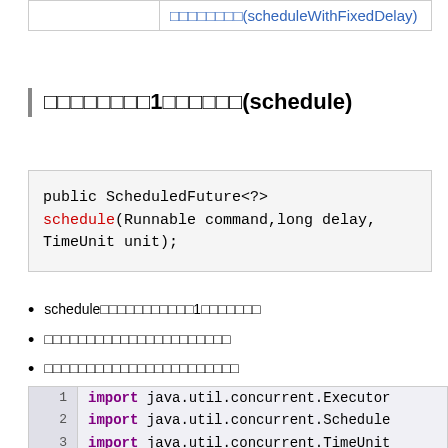|  |  |
| --- | --- |
|  | □□□□□□□□(scheduleWithFixedDelay) |
□□□□□□□□1□□□□□□(schedule)
schedule□□□□□□□□□□□1□□□□□□□
□□□□□□□□□□□□□□□□□□□□□□
□□□□□□□□□□□□□□□□□□□□□□□
□□□□□□□□□□□□□□□□□□TimeUnit.SECONDS□□□□
import java.util.concurrent.Executor
import java.util.concurrent.Schedule
import java.util.concurrent.TimeUnit